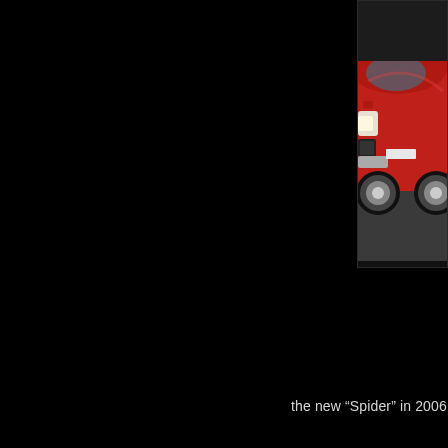[Figure (photo): Red Alfa Romeo car front/side view on track, cropped right side of page, upper portion]
the new “Spider” in 2006.
[Figure (photo): Red Alfa Romeo Spider car side/rear view on track, cropped right side of page, lower portion]